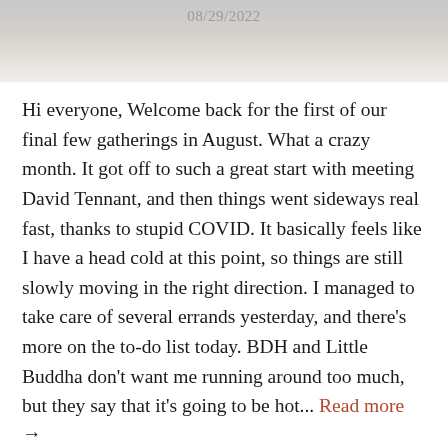[Figure (photo): Partial photograph with a light grey/beige tone, showing date 08/29/2022 overlaid in grey text at the top.]
Hi everyone, Welcome back for the first of our final few gatherings in August. What a crazy month. It got off to such a great start with meeting David Tennant, and then things went sideways real fast, thanks to stupid COVID. It basically feels like I have a head cold at this point, so things are still slowly moving in the right direction. I managed to take care of several errands yesterday, and there's more on the to-do list today. BDH and Little Buddha don't want me running around too much, but they say that it's going to be hot... Read more →